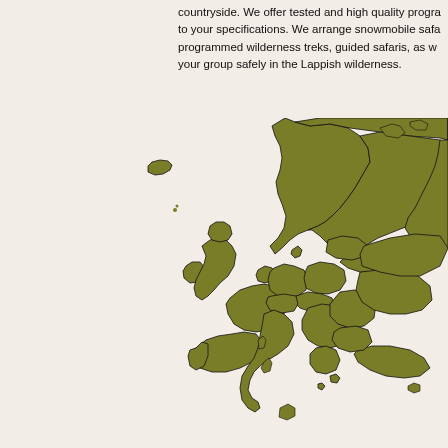countryside. We offer tested and high quality programmes tailored to your specifications. We arrange snowmobile safaris, pre-programmed wilderness treks, guided safaris, as well as guiding your group safely in the Lappish wilderness.
[Figure (map): Map of Europe showing countries in olive/khaki green color with black country borders on a light beige background. The map shows all of Europe including Scandinavia, British Isles, Iceland, Western Europe, Central Europe, and Eastern Europe extending to Russia.]